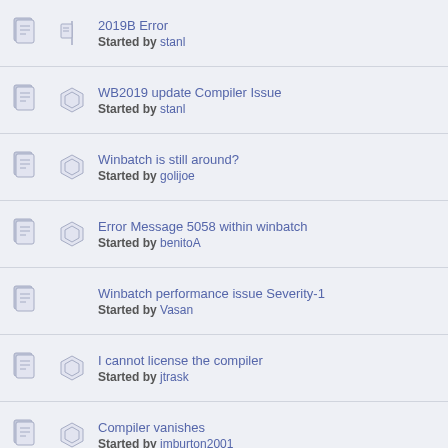2019B Error - Started by stanl
WB2019 update Compiler Issue - Started by stanl
Winbatch is still around? - Started by golijoe
Error Message 5058 within winbatch - Started by benitoA
Winbatch performance issue Severity-1 - Started by Vasan
I cannot license the compiler - Started by jtrask
Compiler vanishes - Started by jmburton2001
Entered License but still getting prompted for license - Started by limnos
Looking for a list of what changed from old version to new version - Started by Rick Wheeler